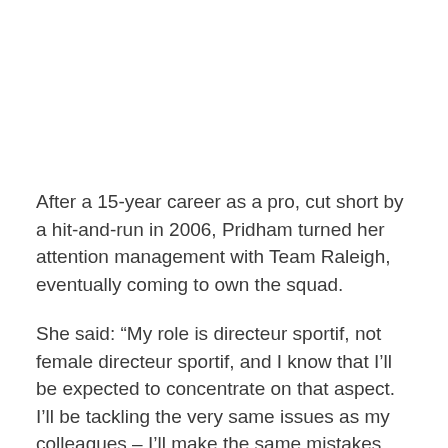After a 15-year career as a pro, cut short by a hit-and-run in 2006, Pridham turned her attention management with Team Raleigh, eventually coming to own the squad.
She said: “My role is directeur sportif, not female directeur sportif, and I know that I’ll be expected to concentrate on that aspect. I’ll be tackling the very same issues as my colleagues – I’ll make the same mistakes and have the same successes too.”
“I have dealt with male cyclists all my life, so I do not see